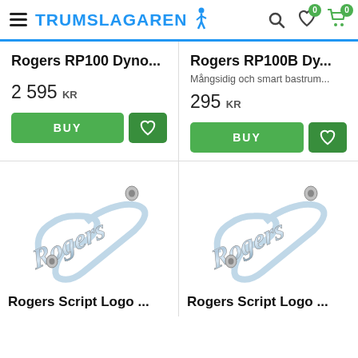TRUMSLAGAREN
Rogers RP100 Dyno...
2 595 KR
Rogers RP100B Dy...
Mångsidig och smart bastrum...
295 KR
[Figure (photo): Rogers script logo badge, chrome/silver metallic, diagonal orientation]
Rogers Script Logo ...
[Figure (photo): Rogers script logo badge, chrome/silver metallic, diagonal orientation]
Rogers Script Logo ...